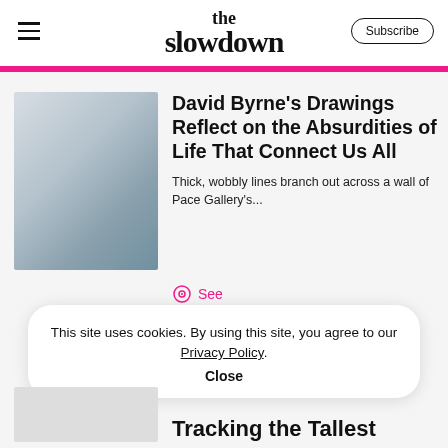the slowdown | Subscribe
David Byrne's Drawings Reflect on the Absurdities of Life That Connect Us All
Thick, wobbly lines branch out across a wall of Pace Gallery's...
See
This site uses cookies. By using this site, you agree to our Privacy Policy.
Close
Tracking the Tallest